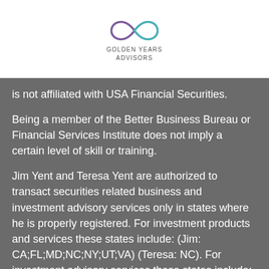[Figure (logo): Golden Years Advisors logo with infinity symbol in purple/teal and company name below]
is not affiliated with USA Financial Securities.
Being a member of the Better Business Bureau or Financial Services Institute does not imply a certain level of skill or training.
Jim Yent and Teresa Yent are authorized to transact securities related business and investment advisory services only in states where he is properly registered. For investment products and services these states include: (Jim: CA;FL;MD;NC;NY;UT;VA) (Teresa: NC). For investment advisory services these states include: (Jim: CA;CT;FL;MD;NC;SC;UT;VA;WI) (Teresa: NC). Additionally, clients who are not residents of